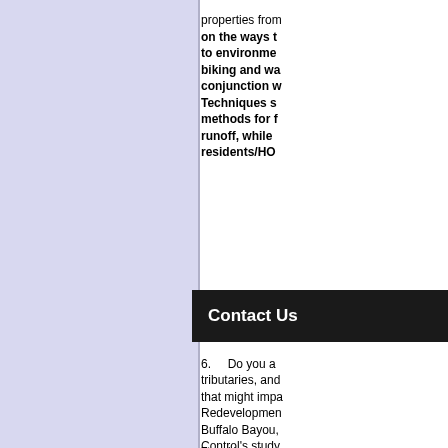properties from on the ways to to environme biking and wa conjunction w Techniques s methods for f runoff, while residents/HO
Contact Us
6. Do you a tributaries, and that might impa Redevelopmen Buffalo Bayou, Control's study, public commen project is expe assured at all performed the to determine solution alter information th that area and impact to reta to know more http://www.ho
7. How do y and developers